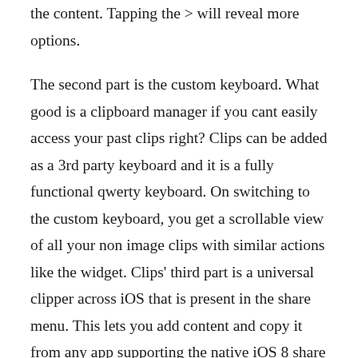the content. Tapping the > will reveal more options.
The second part is the custom keyboard. What good is a clipboard manager if you cant easily access your past clips right? Clips can be added as a 3rd party keyboard and it is a fully functional qwerty keyboard. On switching to the custom keyboard, you get a scrollable view of all your non image clips with similar actions like the widget. Clips' third part is a universal clipper across iOS that is present in the share menu. This lets you add content and copy it from any app supporting the native iOS 8 share sheet.
The app itself is a fully functional clipboard manager with settings for how many clips to keep, custom